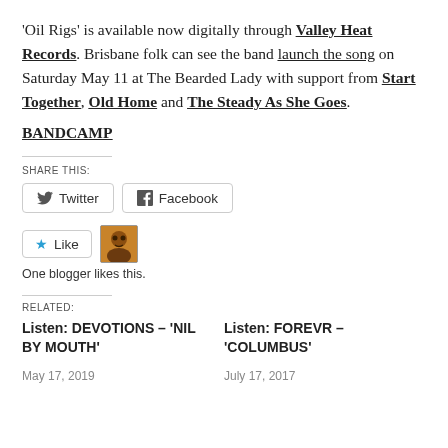'Oil Rigs' is available now digitally through Valley Heat Records. Brisbane folk can see the band launch the song on Saturday May 11 at The Bearded Lady with support from Start Together, Old Home and The Steady As She Goes.
BANDCAMP
SHARE THIS:
Twitter  Facebook
Like  One blogger likes this.
RELATED:
Listen: DEVOTIONS – 'NIL BY MOUTH'  May 17, 2019
Listen: FOREVR – 'COLUMBUS'  July 17, 2017